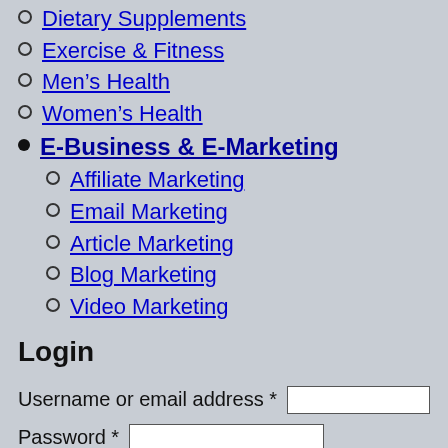Dietary Supplements
Exercise & Fitness
Men's Health
Women's Health
E-Business & E-Marketing
Affiliate Marketing
Email Marketing
Article Marketing
Blog Marketing
Video Marketing
Login
Username or email address *
Password *
Remember me  Log in